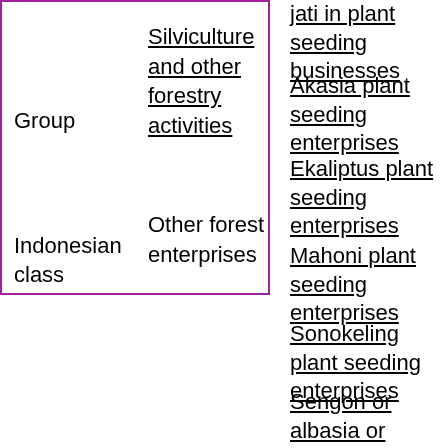| Group | Indonesian class |  |
| --- | --- | --- |
| Group | Silviculture and other forestry activities | jati in plant seeding businesses
Akasia plant seeding enterprises
Ekaliptus plant seeding enterprises
Mahoni plant seeding enterprises
Sonokeling plant seeding enterprises
Sengon or albasia or jeunjing plant seeding businesses
Business gaharu
Other non-timber |
| Indonesian class | Other forest enterprises |  |